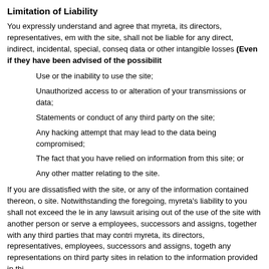Limitation of Liability
You expressly understand and agree that myreta, its directors, representatives, em with the site, shall not be liable for any direct, indirect, incidental, special, conseq data or other intangible losses (Even if they have been advised of the possibilit
Use or the inability to use the site;
Unauthorized access to or alteration of your transmissions or data;
Statements or conduct of any third party on the site;
Any hacking attempt that may lead to the data being compromised;
The fact that you have relied on information from this site; or
Any other matter relating to the site.
If you are dissatisfied with the site, or any of the information contained thereon, o site. Notwithstanding the foregoing, myreta's liability to you shall not exceed the le in any lawsuit arising out of the use of the site with another person or serve a employees, successors and assigns, together with any third parties that may contri myreta, its directors, representatives, employees, successors and assigns, togeth any representations on third party sites in relation to the information provided in thi
Member Dispute; Release
You are solely responsible for your interactions with the Members of the Site. W